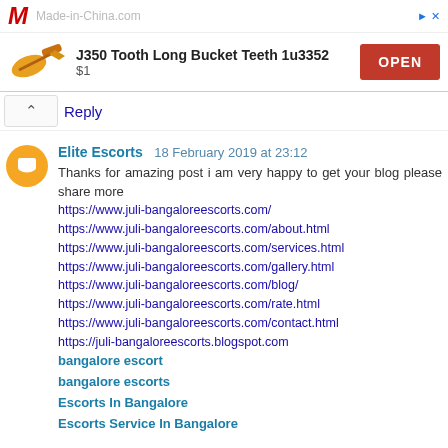[Figure (screenshot): Made-in-China.com advertisement banner showing J350 Tooth Long Bucket Teeth 1u3352 product for $1 with an OPEN button]
Reply
Elite Escorts  18 February 2019 at 23:12
Thanks for amazing post i am very happy to get your blog please share more
https://www.juli-bangaloreescorts.com/
https://www.juli-bangaloreescorts.com/about.html
https://www.juli-bangaloreescorts.com/services.html
https://www.juli-bangaloreescorts.com/gallery.html
https://www.juli-bangaloreescorts.com/blog/
https://www.juli-bangaloreescorts.com/rate.html
https://www.juli-bangaloreescorts.com/contact.html
https://juli-bangaloreescorts.blogspot.com
bangalore escort
bangalore escorts
Escorts In Bangalore
Escorts Service In Bangalore